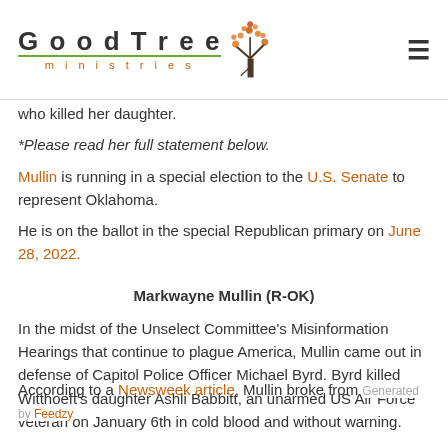GoodTree ministries
who killed her daughter.
*Please read her full statement below.
Mullin is running in a special election to the U.S. Senate to represent Oklahoma.
He is on the ballot in the special Republican primary on June 28, 2022.
Markwayne Mullin (R-OK)
In the midst of the Unselect Committee's Misinformation Hearings that continue to plague America, Mullin came out in defense of Capitol Police Officer Michael Byrd. Byrd killed Witthoeft's daughter Ashli Babbitt, an unarmed US Air Force veteran on January 6th in cold blood and without warning.
According to a Newsweek article, Mullin broke from
Generated by Feedzy